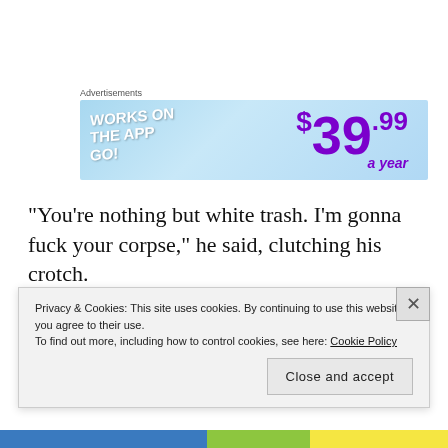Advertisements
[Figure (screenshot): Advertisement banner with light blue background. Left side shows white bold text 'WORKS ON THE APP GO!' at an angle. Right side shows purple bold text '$39.99 a year'.]
“You’re nothing but white trash. I’m gonna fuck your corpse,” he said, clutching his crotch.
Her survival instincts surf aced with lethal force. Her posture shifted. She became the predator.
Privacy & Cookies: This site uses cookies. By continuing to use this website, you agree to their use.
To find out more, including how to control cookies, see here: Cookie Policy
Close and accept